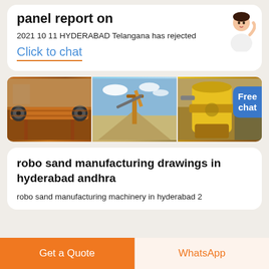panel report on
2021 10 11 HYDERABAD Telangana has rejected
Click to chat
[Figure (photo): Three industrial mining/crushing machinery photos side by side: orange conveyor/spiral machine, stone crushing plant with blue sky, yellow cone crusher machine]
robo sand manufacturing drawings in hyderabad andhra
robo sand manufacturing machinery in hyderabad 2
Get a Quote
WhatsApp